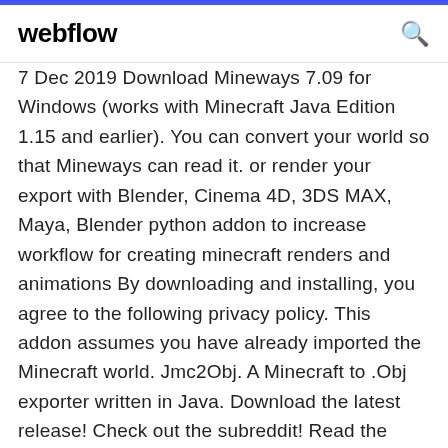webflow
7 Dec 2019 Download Mineways 7.09 for Windows (works with Minecraft Java Edition 1.15 and earlier). You can convert your world so that Mineways can read it. or render your export with Blender, Cinema 4D, 3DS MAX, Maya, Blender python addon to increase workflow for creating minecraft renders and animations By downloading and installing, you agree to the following privacy policy. This addon assumes you have already imported the Minecraft world. Jmc2Obj. A Minecraft to .Obj exporter written in Java. Download the latest release! Check out the subreddit! Read the wiki! Tinker with the source code! Profit! 26 Jul 2017 It is a free, open-source program for exporting your